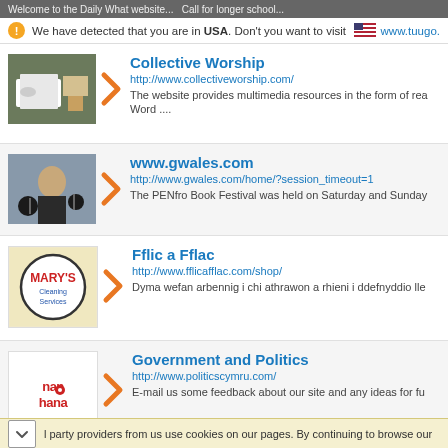Welcome to the Daily What website... Call for longer school
We have detected that you are in USA. Don't you want to visit www.tuugo.
Collective Worship
http://www.collectiveworship.com/
The website provides multimedia resources in the form of rea... Word ....
www.gwales.com
http://www.gwales.com/home/?session_timeout=1
The PENfro Book Festival was held on Saturday and Sunday
Fflic a Fflac
http://www.fflicafflac.com/shop/
Dyma wefan arbennig i chi athrawon a rhieni i ddefnyddio lle
Government and Politics
http://www.politicscymru.com/
E-mail us some feedback about our site and any ideas for fu
l party providers from us use cookies on our pages. By continuing to browse our